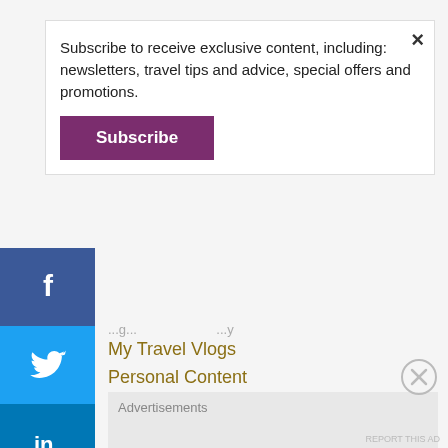Subscribe to receive exclusive content, including: newsletters, travel tips and advice, special offers and promotions.
Subscribe
[Figure (infographic): Social media share/follow buttons sidebar on left: Facebook (dark blue), Twitter (blue), LinkedIn (blue), Pinterest (red), Reddit (light blue), Mango/M icon (orange), YouTube (red), Email (teal)]
My Travel Vlogs
Personal Content
Professional Content
airbnb Recommendations
About Me
Wanderful Soul Apparel
Advertisements